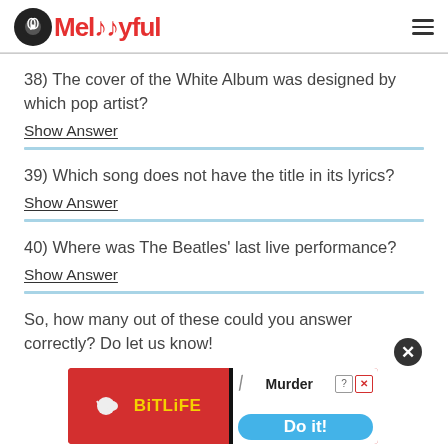Melodyful
38) The cover of the White Album was designed by which pop artist?
Show Answer
39) Which song does not have the title in its lyrics?
Show Answer
40) Where was The Beatles' last live performance?
Show Answer
So, how many out of these could you answer correctly? Do let us know!
[Figure (screenshot): BitLife advertisement banner with 'Murder Do it!' text and close button]